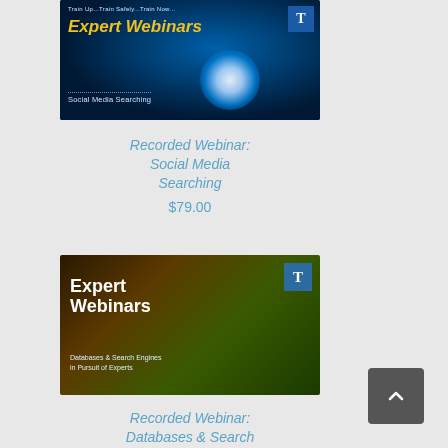[Figure (screenshot): Expert Webinars – Social Media Searching banner image with blue glowing globe on dark background and gold italic text]
Recorded Webinar: Social Media Searching
$79.00
[Figure (screenshot): Expert Webinars – Databases & Search Engines in Pursuit of Experts banner image with dark forest background and white bold text]
Recorded Webinar: Databases & Search Engines in Pursuit of Experts